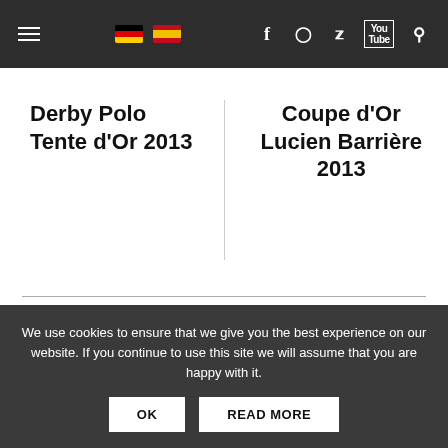Navigation bar with hamburger menu, German flag, Spanish flag, Facebook, Instagram, Twitter, YouTube, Search icons
Derby Polo Tente d'Or 2013
Coupe d'Or Lucien Barrière 2013
ÄHNLICHE ARTIKEL
A great French Open!
[Figure (photo): Polo players on horseback, outdoor action shot]
We use cookies to ensure that we give you the best experience on our website. If you continue to use this site we will assume that you are happy with it.
OK
READ MORE